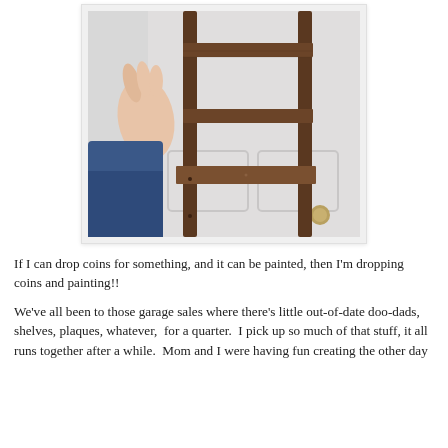[Figure (photo): A person's hand holding up a dark brown wooden shelf unit with three horizontal shelves, positioned in front of a white door with a brass knob visible at the bottom right.]
If I can drop coins for something, and it can be painted, then I'm dropping coins and painting!!
We've all been to those garage sales where there's little out-of-date doo-dads, shelves, plaques, whatever,  for a quarter.  I pick up so much of that stuff, it all runs together after a while.  Mom and I were having fun creating the other day